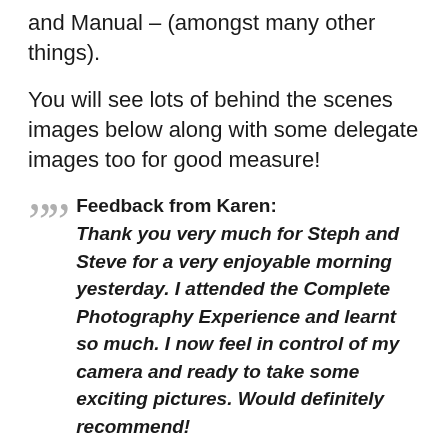and Manual – (amongst many other things).
You will see lots of behind the scenes images below along with some delegate images too for good measure!
Feedback from Karen: Thank you very much for Steph and Steve for a very enjoyable morning yesterday. I attended the Complete Photography Experience and learnt so much. I now feel in control of my camera and ready to take some exciting pictures. Would definitely recommend!